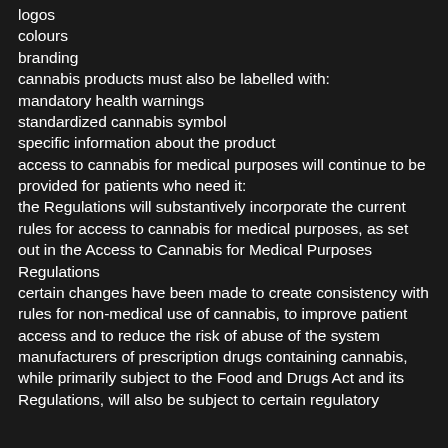logos
colours
branding
cannabis products must also be labelled with:
mandatory health warnings
standardized cannabis symbol
specific information about the product
access to cannabis for medical purposes will continue to be provided for patients who need it:
the Regulations will substantively incorporate the current rules for access to cannabis for medical purposes, as set out in the Access to Cannabis for Medical Purposes Regulations
certain changes have been made to create consistency with rules for non-medical use of cannabis, to improve patient access and to reduce the risk of abuse of the system
manufacturers of prescription drugs containing cannabis, while primarily subject to the Food and Drugs Act and its Regulations, will also be subject to certain regulatory